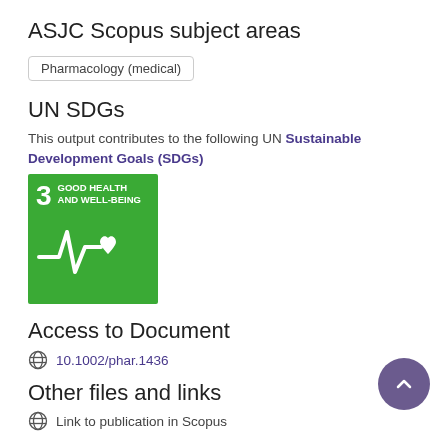ASJC Scopus subject areas
Pharmacology (medical)
UN SDGs
This output contributes to the following UN Sustainable Development Goals (SDGs)
[Figure (logo): UN SDG Goal 3: Good Health and Well-Being - green square badge with number 3, title text, and heartbeat/ECG with heart icon]
Access to Document
10.1002/phar.1436
Other files and links
Link to publication in Scopus